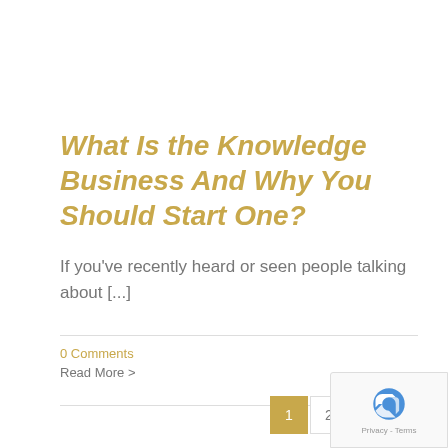What Is the Knowledge Business And Why You Should Start One?
If you've recently heard or seen people talking about [...]
0 Comments
Read More >